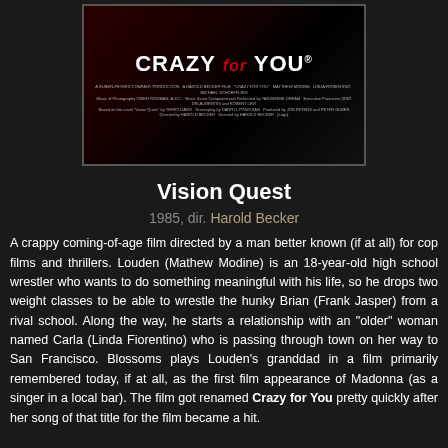[Figure (photo): Movie poster for 'Crazy for You' (originally 'Vision Quest'), featuring red and dark background with the title in bold white letters and 'for' in red italic.]
Vision Quest
1985, dir. Harold Becker
A crappy coming-of-age film directed by a man better known (if at all) for cop films and thrillers. Louden (Mathew Modine) is an 18-year-old high school wrestler who wants to do something meaningful with his life, so he drops two weight classes to be able to wrestle the hunky Brian (Frank Jasper) from a rival school. Along the way, he starts a relationship with an "older" woman named Carla (Linda Fiorentino) who is passing through town on her way to San Francisco. Blossoms plays Louden's granddad in a film primarily remembered today, if at all, as the first film appearance of Madonna (as a singer in a local bar). The film got renamed Crazy for You pretty quickly after her song of that title for the film became a hit.